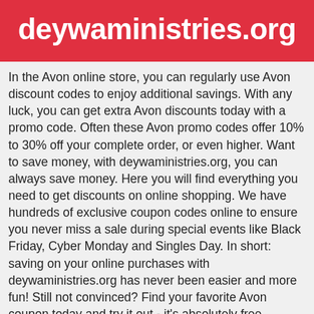deywaministries.org
In the Avon online store, you can regularly use Avon discount codes to enjoy additional savings. With any luck, you can get extra Avon discounts today with a promo code. Often these Avon promo codes offer 10% to 30% off your complete order, or even higher. Want to save money, with deywaministries.org, you can always save money. Here you will find everything you need to get discounts on online shopping. We have hundreds of exclusive coupon codes online to ensure you never miss a sale during special events like Black Friday, Cyber Monday and Singles Day. In short: saving on your online purchases with deywaministries.org has never been easier and more fun! Still not convinced? Find your favorite Avon coupon today and try it out - it's absolutely free.
Submit Coupon for Avon